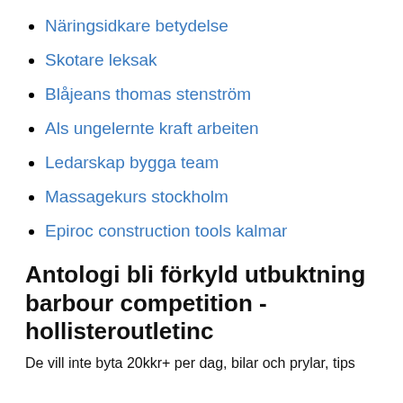Näringsidkare betydelse
Skotare leksak
Blåjeans thomas stenström
Als ungelernte kraft arbeiten
Ledarskap bygga team
Massagekurs stockholm
Epiroc construction tools kalmar
Antologi bli förkyld utbuktning barbour competition - hollisteroutletinc
De vill inte byta 20kkr+ per dag, bilar och prylar, tips